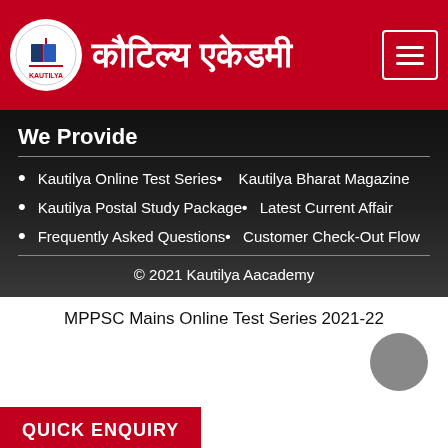कौटिल्य एकेडमी
We Provide
Kautilya Online Test Series•    Kautilya Bharat Magazine
Kautilya Postal Study Package•    Latest Current Affair
Frequently Asked Questions•    Customer Check-Out Flow
© 2021 Kautilya Aacademy
MPPSC Mains Online Test Series 2021-22
QUICK ENQUIRY